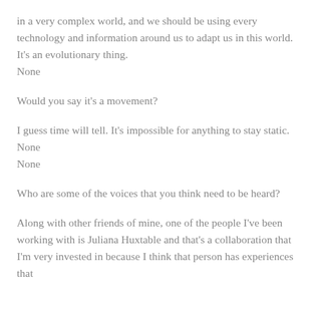in a very complex world, and we should be using every technology and information around us to adapt us in this world. It's an evolutionary thing.
None
Would you say it's a movement?
I guess time will tell. It's impossible for anything to stay static.
None
None
Who are some of the voices that you think need to be heard?
Along with other friends of mine, one of the people I've been working with is Juliana Huxtable and that's a collaboration that I'm very invested in because I think that person has experiences that